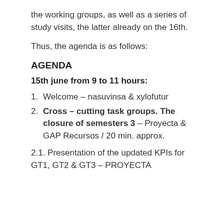the working groups, as well as a series of study visits, the latter already on the 16th.
Thus, the agenda is as follows:
AGENDA
15th june from 9 to 11 hours:
1. Welcome – nasuvinsa & xylofutur
2. Cross – cutting task groups. The closure of semesters 3 – Proyecta & GAP Recursos / 20 min. approx.
2.1. Presentation of the updated KPIs for GT1, GT2 & GT3 – PROYECTA